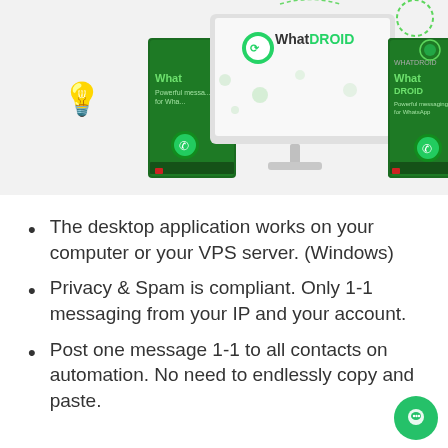[Figure (illustration): WhatDROID product box and computer monitor display showing the WhatDROID software branding — a green-themed desktop application for WhatsApp messaging, with two software boxes on either side of a monitor, and decorative green icons around.]
The desktop application works on your computer or your VPS server. (Windows)
Privacy & Spam is compliant. Only 1-1 messaging from your IP and your account.
Post one message 1-1 to all contacts on automation. No need to endlessly copy and paste.